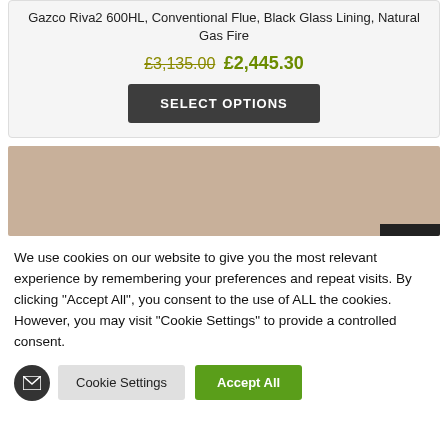Gazco Riva2 600HL, Conventional Flue, Black Glass Lining, Natural Gas Fire
£3,135.00 £2,445.30
SELECT OPTIONS
[Figure (photo): Product image area showing a beige/tan colored fireplace face with a dark bottom edge]
We use cookies on our website to give you the most relevant experience by remembering your preferences and repeat visits. By clicking "Accept All", you consent to the use of ALL the cookies. However, you may visit "Cookie Settings" to provide a controlled consent.
Cookie Settings
Accept All